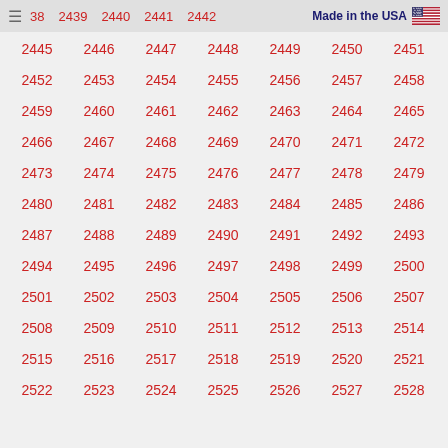38 2439 2440 2441 2442 Made in the USA
2445 2446 2447 2448 2449 2450 2451
2452 2453 2454 2455 2456 2457 2458
2459 2460 2461 2462 2463 2464 2465
2466 2467 2468 2469 2470 2471 2472
2473 2474 2475 2476 2477 2478 2479
2480 2481 2482 2483 2484 2485 2486
2487 2488 2489 2490 2491 2492 2493
2494 2495 2496 2497 2498 2499 2500
2501 2502 2503 2504 2505 2506 2507
2508 2509 2510 2511 2512 2513 2514
2515 2516 2517 2518 2519 2520 2521
2522 2523 2524 2525 2526 2527 2528